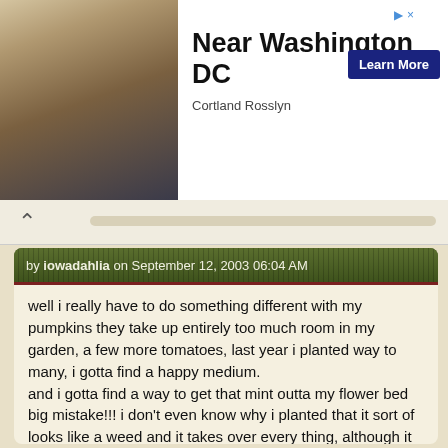[Figure (infographic): Advertisement banner: photo of an apartment interior with dining table on left, text 'Near Washington DC' in bold, 'Cortland Rosslyn' subtitle, blue 'Learn More' button, navigation arrows and close button on top right]
by iowadahlia on September 12, 2003 06:04 AM
well i really have to do something different with my pumpkins they take up entirely too much room in my garden, a few more tomatoes, last year i planted way to many, i gotta find a happy medium.
and i gotta find a way to get that mint outta my flower bed big mistake!!! i don't even know why i planted that it sort of looks like a weed and it takes over every thing, although it looks like the morning glories are giving it a run for it's money.
* * * *
[Figure (photo): User avatar photo showing a pink dahlia flower against green foliage background with 'Iowa' text overlaid in purple italic script]